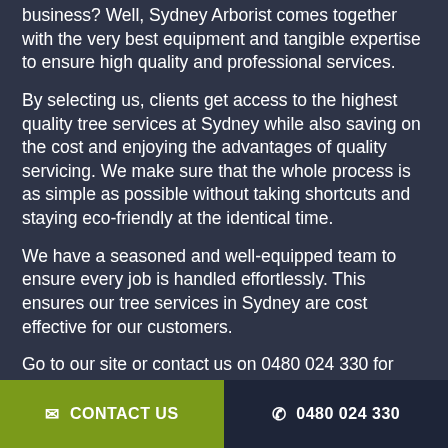business? Well, Sydney Arborist comes together with the very best equipment and tangible expertise to ensure high quality and professional services.
By selecting us, clients get access to the highest quality tree services at Sydney while also saving on the cost and enjoying the advantages of quality servicing. We make sure that the whole process is as simple as possible without taking shortcuts and staying eco-friendly at the identical time.
We have a seasoned and well-equipped team to ensure every job is handled effortlessly. This ensures our tree services in Sydney are cost effective for our customers.
Go to our site or contact us on 0480 024 330 for
CONTACT US   0480 024 330